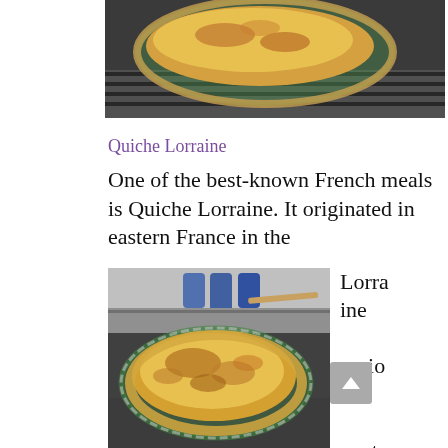[Figure (photo): A quiche in a glass pie dish on a stove top, photographed from above, partially cropped at top of page.]
Quiche Lorraine
One of the best-known French meals is Quiche Lorraine. It originated in eastern France in the Lorraine region next to Germany
[Figure (photo): A golden-brown baked quiche in a glass pie dish sitting on a stove top, with kitchen items visible in background.]